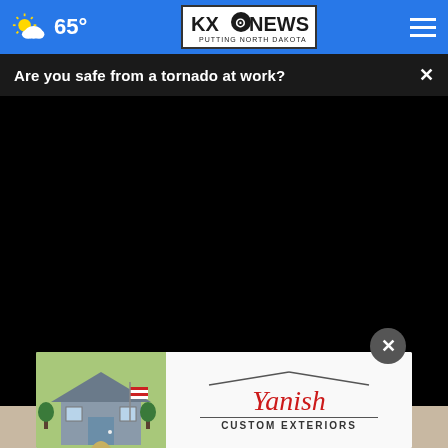65° KXO NEWS - Putting North Dakota First
Are you safe from a tornado at work?
[Figure (screenshot): Black video player area embedded in news website]
[Figure (photo): Partial photo of a person visible below the video player]
[Figure (other): Yanish Custom Exteriors advertisement banner with house photo and logo]